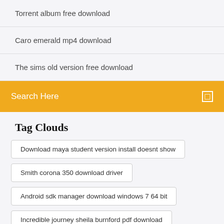Torrent album free download
Caro emerald mp4 download
The sims old version free download
Search Here
Tag Clouds
Download maya student version install doesnt show
Smith corona 350 download driver
Android sdk manager download windows 7 64 bit
Incredible journey sheila burnford pdf download